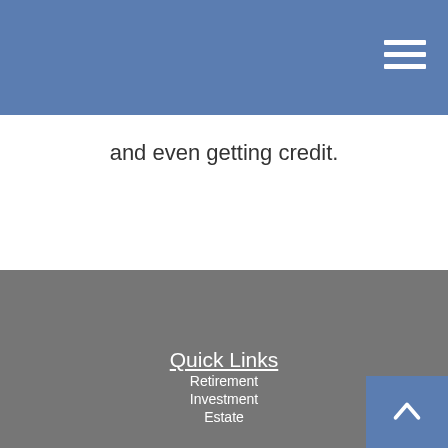and even getting credit.
Contact
Hendershot Investments, Inc.
Office: 703.361.6130
Fax: 703.817-0737
5862 Saddle Downs Place
Centreville, VA 20120
info@hendershotinvestments.com
Quick Links
Retirement
Investment
Estate